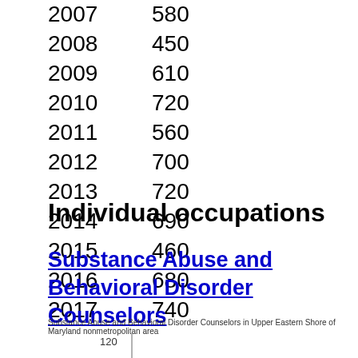| Year | Value |
| --- | --- |
| 2007 | 580 |
| 2008 | 450 |
| 2009 | 610 |
| 2010 | 720 |
| 2011 | 560 |
| 2012 | 700 |
| 2013 | 720 |
| 2014 | 690 |
| 2015 | 460 |
| 2016 | 680 |
| 2017 | 740 |
Individual occupations
Substance Abuse and Behavioral Disorder Counselors
Substance Abuse and Behavioral Disorder Counselors in Upper Eastern Shore of Maryland nonmetropolitan area
[Figure (line-chart): Partial chart visible showing y-axis label of 120 and a vertical axis line]